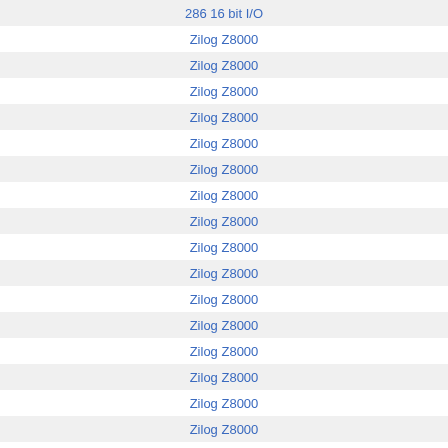| 286 16 bit I/O |
| Zilog Z8000 |
| Zilog Z8000 |
| Zilog Z8000 |
| Zilog Z8000 |
| Zilog Z8000 |
| Zilog Z8000 |
| Zilog Z8000 |
| Zilog Z8000 |
| Zilog Z8000 |
| Zilog Z8000 |
| Zilog Z8000 |
| Zilog Z8000 |
| Zilog Z8000 |
| Zilog Z8000 |
| Zilog Z8000 |
| Zilog Z8000 |
| Zilog Z8000 |
| Zilog Z8000 |
| Zilog Z8000 |
| Zilog Z8000 |
| Zilog Z8000 |